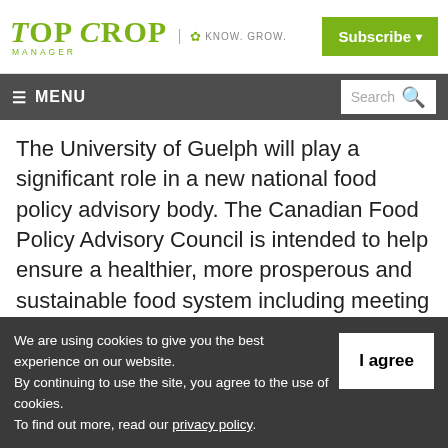Top Crop Manager | KNOW. GROW. | Subscribe
≡ MENU | Search
The University of Guelph will play a significant role in a new national food policy advisory body. The Canadian Food Policy Advisory Council is intended to help ensure a healthier, more prosperous and sustainable food system including meeting the agri-food challenges
We are using cookies to give you the best experience on our website.
By continuing to use the site, you agree to the use of cookies.
To find out more, read our privacy policy.